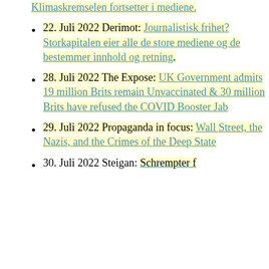Klimaskremselen fortsetter i mediene.
22. Juli 2022 Derimot: Journalistisk frihet? Storkapitalen eier alle de store mediene og de bestemmer innhold og retning.
28. Juli 2022 The Expose: UK Government admits 19 million Brits remain Unvaccinated & 30 million Brits have refused the COVID Booster Jab
29. Juli 2022 Propaganda in focus: Wall Street, the Nazis, and the Crimes of the Deep State
30. Juli 2022 Steigan: Schrempter f...